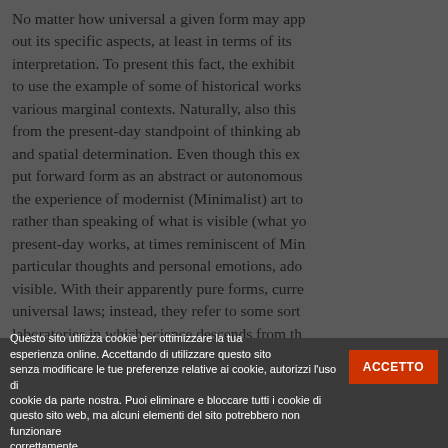No matter how universal a given form may app out its specific aspects, at least in terms of its interpretation. To present this fact, the exhibit to use the example of some of historical works various marginal contexts. Naturally, also this from the present-day standpoint of thinking ab and spatial determination. Even though this ex put forward form as an abstract or autonomous the experience of modernist (Minimalist) art to rather than speaking of what is visible (what yo present-day works, at times reminiscent of Min particular thoughts and personal emotions, ado visible. With their apparently pure forms, curre universal laws; instead, they refer to some sort laboratories in which science descends from th thought and becomes involved in the productio the improvement and for the destruction of the
Questo sito utilizza cookie per ottimizzare la tua esperienza online. Accettando di utilizzare questo sito senza modificare le tue preferenze relative ai cookie, autorizzi l'uso di cookie da parte nostra. Puoi eliminare e bloccare tutti i cookie di questo sito web, ma alcuni elementi del sito potrebbero non funzionare correttamente.